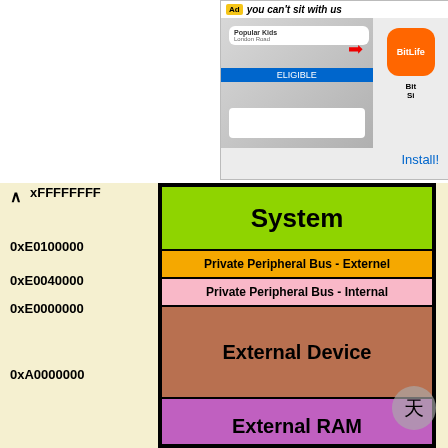[Figure (screenshot): Advertisement banner for BitLife app with 'you can't sit with us' tagline and Install button]
[Figure (engineering-diagram): ARM Cortex-M memory map diagram showing address regions: xFFFFFFFF (System), 0xE0100000 (Private Peripheral Bus - External), 0xE0040000 (Private Peripheral Bus - Internal), 0xE0000000 (External Device), 0xA0000000 (External RAM). Source: www.embetronicx.com]